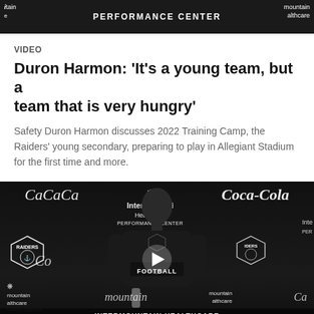[Figure (photo): Top banner showing 'PERFORMANCE CENTER' text on dark background with Intermountain Healthcare branding]
VIDEO
Duron Harmon: 'It's a young team, but a team that is very hungry'
Safety Duron Harmon discusses 2022 Training Camp, the Raiders' young secondary, preparing to play in Allegiant Stadium for the first time and more.
[Figure (photo): Video thumbnail showing Duron Harmon at an Intermountain Healthcare Performance Center press conference podium, with Raiders logos, Coca-Cola logos on backdrop, and a play button overlay. Bottom banner reads 'INTERMOUNTAIN HEALTHCARE PERFORMANCE CENTER']